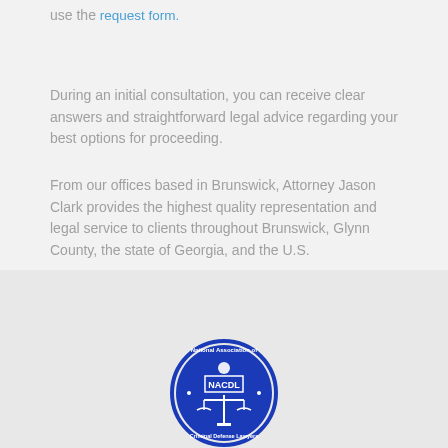use the request form.
During an initial consultation, you can receive clear answers and straightforward legal advice regarding your best options for proceeding.
From our offices based in Brunswick, Attorney Jason Clark provides the highest quality representation and legal service to clients throughout Brunswick, Glynn County, the state of Georgia, and the U.S.
[Figure (logo): NACDL National Association of Criminal Defense Lawyers circular blue logo with scales of justice]